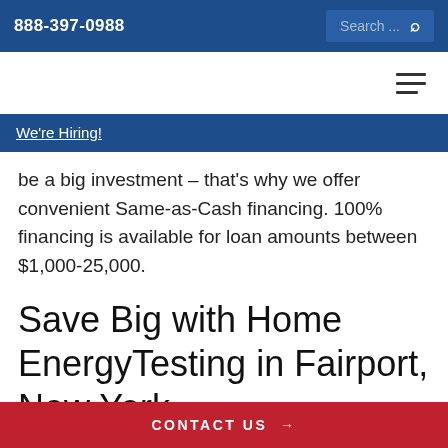888-397-0988   Search...
We're Hiring!
be a big investment – that's why we offer convenient Same-as-Cash financing. 100% financing is available for loan amounts between $1,000-25,000.
Save Big with Home EnergyTesting in Fairport, New York
CONTACT US →